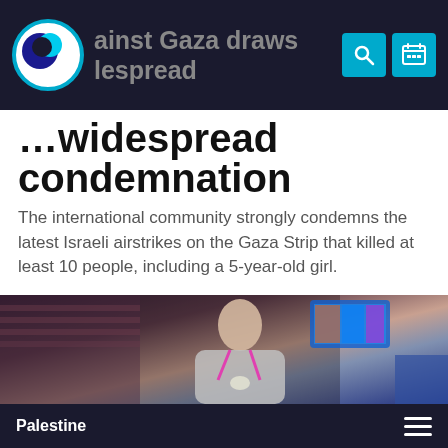...inst Gaza draws ...lespread
...widespread condemnation
The international community strongly condemns the latest Israeli airstrikes on the Gaza Strip that killed at least 10 people, including a 5-year-old girl.
[Figure (photo): A young woman wearing a taekwondo uniform and medal lanyard, standing in front of a large indoor sports arena with red seating and screens in the background.]
Palestine